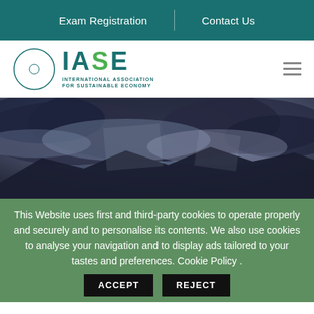Exam Registration | Contact Us
[Figure (logo): IASE - International Association for Sustainable Economy logo with circular green leaf emblem]
[Figure (photo): Dramatic stormy sky with dark clouds over mountains, blue-grey toned]
This Website uses first and third-party cookies to operate properly and securely and to personalise its contents. We also use cookies to analyse your navigation and to display ads tailored to your tastes and preferences. Cookie Policy .
ACCEPT   REJECT